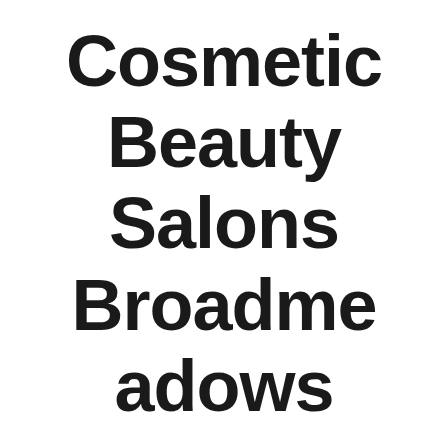Cosmetic Beauty Salons Broadmeadows